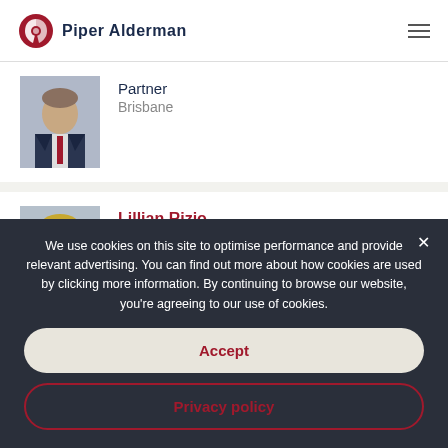[Figure (logo): Piper Alderman law firm logo with red circular icon and dark blue text]
Partner
Brisbane
Lillian Rizio
Partner
Brisbane
We use cookies on this site to optimise performance and provide relevant advertising. You can find out more about how cookies are used by clicking more information. By continuing to browse our website, you're agreeing to our use of cookies.
Accept
Privacy policy